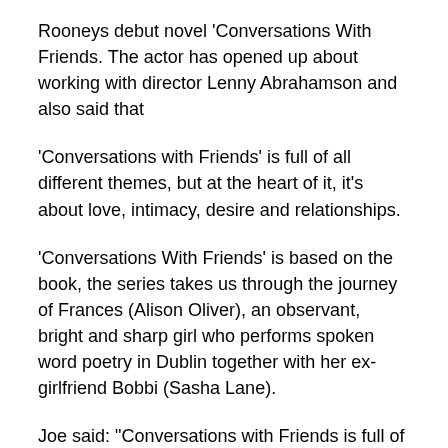Rooneys debut novel ‘Conversations With Friends. The actor has opened up about working with director Lenny Abrahamson and also said that
‘Conversations with Friends’ is full of all different themes, but at the heart of it, it’s about love, intimacy, desire and relationships.
‘Conversations With Friends’ is based on the book, the series takes us through the journey of Frances (Alison Oliver), an observant, bright and sharp girl who performs spoken word poetry in Dublin together with her ex-girlfriend Bobbi (Sasha Lane).
Joe said: “Conversations with Friends is full of all different themes, but at the heart of it, it’s about love, intimacy, desire and relationships. It’s about how we can love and find